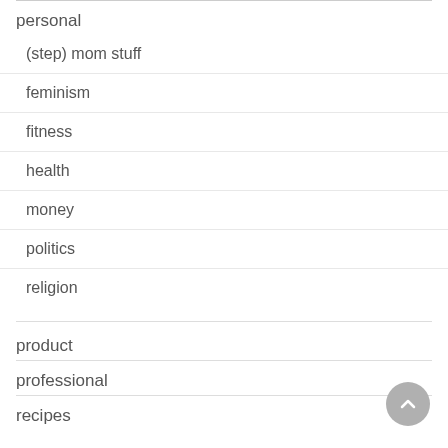personal
(step) mom stuff
feminism
fitness
health
money
politics
religion
product
professional
recipes